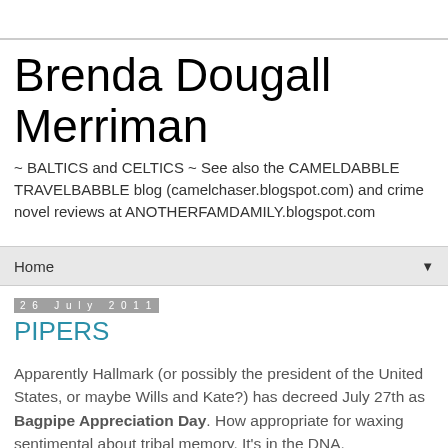Brenda Dougall Merriman
~ BALTICS and CELTICS ~ See also the CAMELDABBLE TRAVELBABBLE blog (camelchaser.blogspot.com) and crime novel reviews at ANOTHERFAMDAMILY.blogspot.com
Home ▼
26 July 2011
PIPERS
Apparently Hallmark (or possibly the president of the United States, or maybe Wills and Kate?) has decreed July 27th as Bagpipe Appreciation Day. How appropriate for waxing sentimental about tribal memory. It's in the DNA.